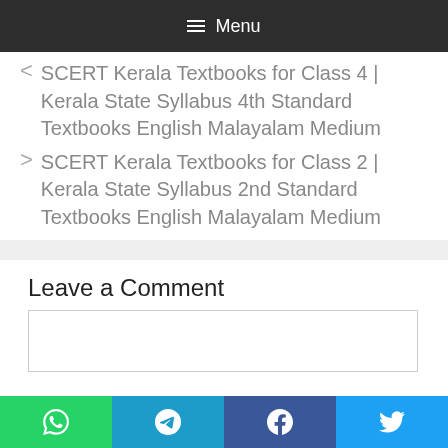Menu
SCERT Kerala Textbooks for Class 4 | Kerala State Syllabus 4th Standard Textbooks English Malayalam Medium
SCERT Kerala Textbooks for Class 2 | Kerala State Syllabus 2nd Standard Textbooks English Malayalam Medium
Leave a Comment
[Comment text area]